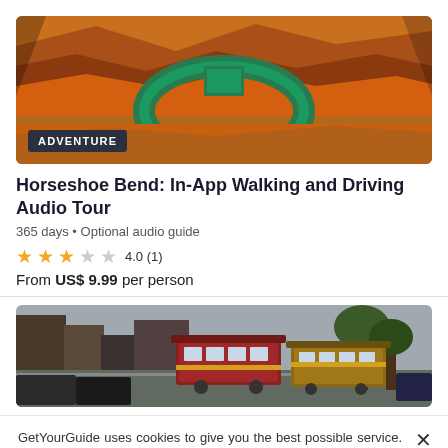[Figure (photo): Aerial photo of Horseshoe Bend canyon with a green river winding through orange/red rock formations. ADVENTURE badge overlaid at bottom left.]
Horseshoe Bend: In-App Walking and Driving Audio Tour
365 days • Optional audio guide
4.0 (1)
From US$ 9.99 per person
[Figure (photo): Street-level photo of two classic San Francisco cable cars on a city street with trees and buildings in background.]
GetYourGuide uses cookies to give you the best possible service. If you continue browsing, you agree to the use of cookies. More details can be found in our privacy policy.